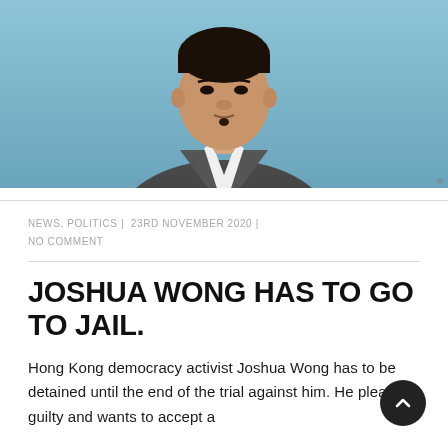[Figure (photo): Portrait photo of a young Asian man in a grey suit jacket and white shirt against a blue background, photographed from roughly chest up, looking slightly upward]
NEWS, POLITICS |  23RD NOVEMBER 2020 |  NO COMMENT
JOSHUA WONG HAS TO GO TO JAIL.
Hong Kong democracy activist Joshua Wong has to be detained until the end of the trial against him. He pleaded guilty and wants to accept a